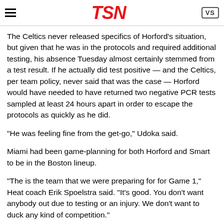TSN
The Celtics never released specifics of Horford's situation, but given that he was in the protocols and required additional testing, his absence Tuesday almost certainly stemmed from a test result. If he actually did test positive — and the Celtics, per team policy, never said that was the case — Horford would have needed to have returned two negative PCR tests sampled at least 24 hours apart in order to escape the protocols as quickly as he did.
“He was feeling fine from the get-go,” Udoka said.
Miami had been game-planning for both Horford and Smart to be in the Boston lineup.
“The is the team that we were preparing for for Game 1,” Heat coach Erik Spoelstra said. “It’s good. You don’t want anybody out due to testing or an injury. We don’t want to duck any kind of competition."